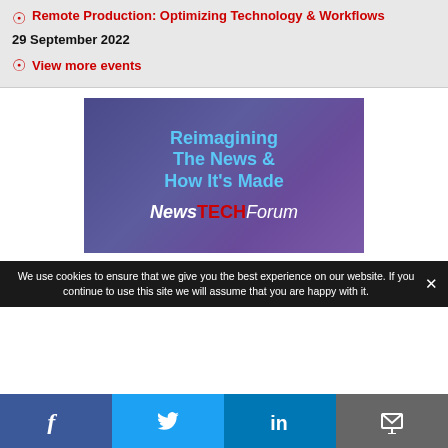Remote Production: Optimizing Technology & Workflows
29 September 2022
View more events
[Figure (illustration): Advertisement banner for NewsTECH Forum reading 'Reimagining The News & How It's Made' on a purple gradient background with NewsTECH Forum logo]
We use cookies to ensure that we give you the best experience on our website. If you continue to use this site we will assume that you are happy with it.
Facebook | Twitter | LinkedIn | Email share buttons